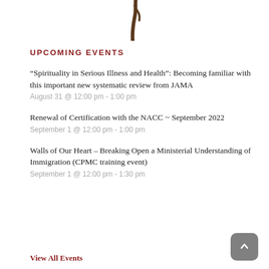[Figure (logo): Partial logo graphic showing a brown brushstroke or feather shape at top center]
UPCOMING EVENTS
“Spirituality in Serious Illness and Health”: Becoming familiar with this important new systematic review from JAMA
August 31 @ 12:00 pm - 1:00 pm
Renewal of Certification with the NACC ~ September 2022
September 1 @ 12:00 pm - 1:00 pm
Walls of Our Heart – Breaking Open a Ministerial Understanding of Immigration (CPMC training event)
September 1 @ 12:00 pm - 1:30 pm
View All Events